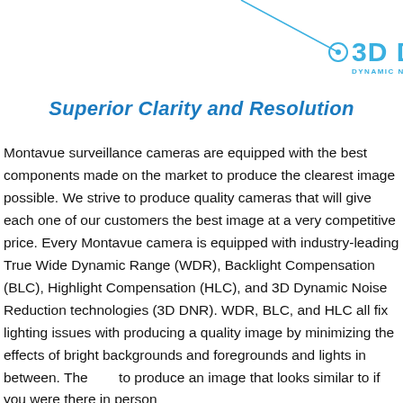[Figure (logo): 3D DNR Dynamic Noise Reduction logo with a diagonal line graphic and circle-target icon in blue]
Superior Clarity and Resolution
Montavue surveillance cameras are equipped with the best components made on the market to produce the clearest image possible. We strive to produce quality cameras that will give each one of our customers the best image at a very competitive price. Every Montavue camera is equipped with industry-leading True Wide Dynamic Range (WDR), Backlight Compensation (BLC), Highlight Compensation (HLC), and 3D Dynamic Noise Reduction technologies (3D DNR). WDR, BLC, and HLC all fix lighting issues with producing a quality image by minimizing the effects of bright backgrounds and foregrounds and lights in between. The [icon] to produce an image that looks similar to if you were there in person